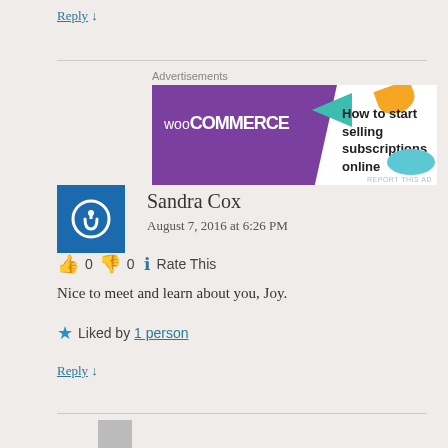Reply ↓
[Figure (other): WooCommerce advertisement banner: purple background with WooCommerce logo and text 'How to start selling subscriptions online']
Sandra Cox
August 7, 2016 at 6:26 PM
👍 0 👎 0 ℹ Rate This
Nice to meet and learn about you, Joy.
★ Liked by 1 person
Reply ↓